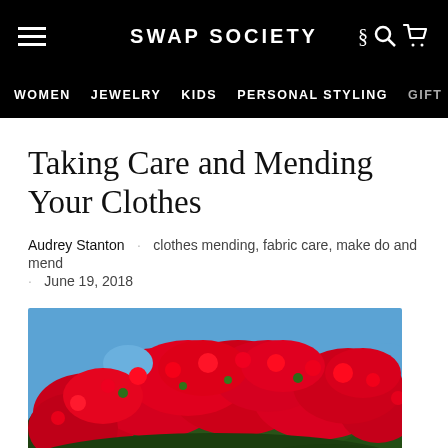SWAP SOCIETY
WOMEN · JEWELRY · KIDS · PERSONAL STYLING · GIFT
Taking Care and Mending Your Clothes
Audrey Stanton · clothes mending, fabric care, make do and mend · June 19, 2018
[Figure (photo): Photograph of a tree covered in dense bright red/pink bougainvillea flowers against a blue sky]